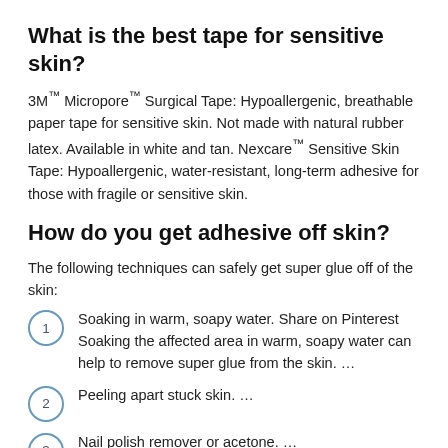What is the best tape for sensitive skin?
3M™ Micropore™ Surgical Tape: Hypoallergenic, breathable paper tape for sensitive skin. Not made with natural rubber latex. Available in white and tan. Nexcare™ Sensitive Skin Tape: Hypoallergenic, water-resistant, long-term adhesive for those with fragile or sensitive skin.
How do you get adhesive off skin?
The following techniques can safely get super glue off of the skin:
Soaking in warm, soapy water. Share on Pinterest Soaking the affected area in warm, soapy water can help to remove super glue from the skin. …
Peeling apart stuck skin. …
Nail polish remover or acetone. …
Butter and oils.